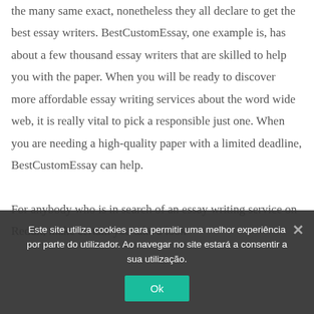the many same exact, nonetheless they all declare to get the best essay writers. BestCustomEssay, one example is, has about a few thousand essay writers that are skilled to help you with the paper. When you will be ready to discover more affordable essay writing services about the word wide web, it is really vital to pick a responsible just one. When you are needing a high-quality paper with a limited deadline, BestCustomEssay can help.
For anybody who is in search of an essay writing service on Reddit, make certain you take a look
Este site utiliza cookies para permitir uma melhor experiência por parte do utilizador. Ao navegar no site estará a consentir a sua utilização.